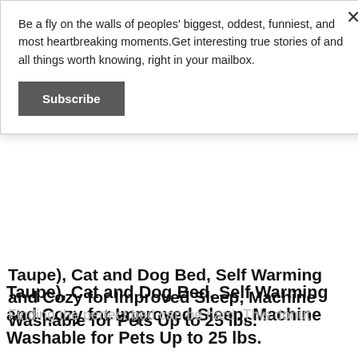Be a fly on the walls of peoples' biggest, oddest, funniest, and most heartbreaking moments.Get interesting true stories of and all things worth knowing, right in your mailbox.
Subscribe
Taupe), Cat and Dog Bed, Self Warming and Cozy for Improved Sleep, Machine Washable for Pets Up to 25 lbs.
List Price: $34.95
New From: $34.95in Stock
Used From: $23.85in Stock
BUY NOW AT amazon
Finding the perfect bed can be hard. This donut